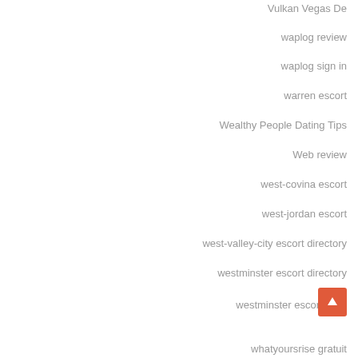Vulkan Vegas De
waplog review
waplog sign in
warren escort
Wealthy People Dating Tips
Web review
west-covina escort
west-jordan escort
west-valley-city escort directory
westminster escort directory
westminster escort sites
whatyoursrise gratuit